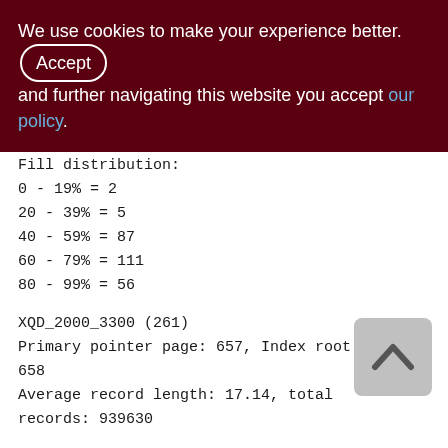We use cookies to make your experience better. By accepting and further navigating this website you accept our policy.
Fill distribution:
0 - 19% = 2
20 - 39% = 5
40 - 59% = 87
60 - 79% = 111
80 - 99% = 56
XQD_2000_3300 (261)
Primary pointer page: 657, Index root page: 658
Average record length: 17.14, total records: 939630